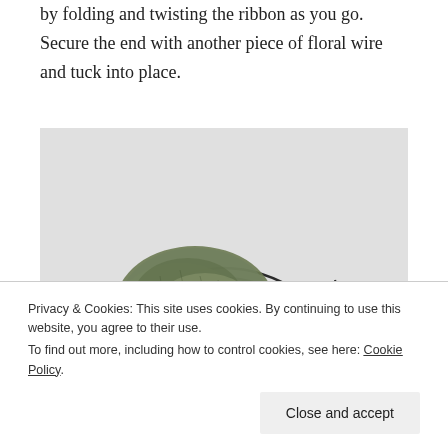by folding and twisting the ribbon as you go. Secure the end with another piece of floral wire and tuck into place.
[Figure (photo): A wire wreath frame (dark metal wire in a half-circle with parallel wires) with olive green chunky burlap/mesh ribbon folded and attached at the left side, on a white background.]
Privacy & Cookies: This site uses cookies. By continuing to use this website, you agree to their use.
To find out more, including how to control cookies, see here: Cookie Policy